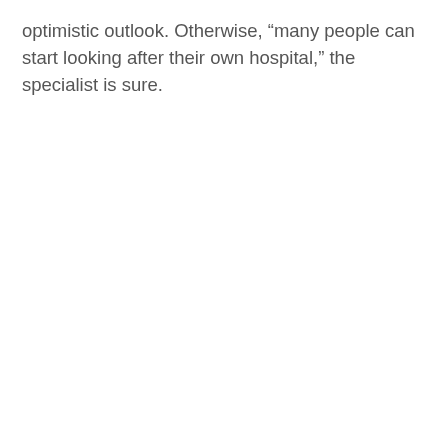optimistic outlook. Otherwise, “many people can start looking after their own hospital,” the specialist is sure.